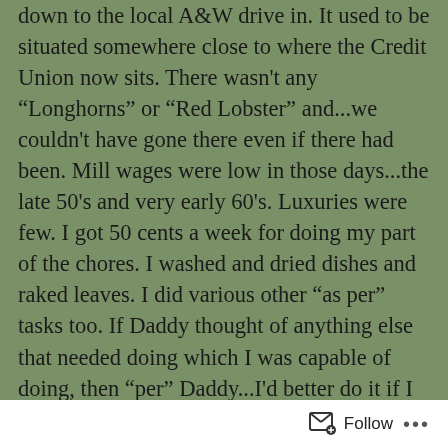down to the local A&W drive in. It used to be situated somewhere close to where the Credit Union now sits. There wasn't any "Longhorns" or "Red Lobster" and...we couldn't have gone there even if there had been. Mill wages were low in those days...the late 50's and very early 60's. Luxuries were few. I got 50 cents a week for doing my part of the chores. I washed and dried dishes and raked leaves. I did various other "as per" tasks too. If Daddy thought of anything else that needed doing which I was capable of doing, then "per" Daddy...I'd better do it if I wanted my two quarters. I wanted them badly. Those two quarters bought me some cokes, some candy bars and three comics. Comics started out at a dime when I first started reading them. When they went up to 12 cents sometime in the sixties, I was so mad I coulda' bit nails in two. I asked for a raise in my allowance, and much to my surprise my Dad starting giving me three quarters
Follow ···